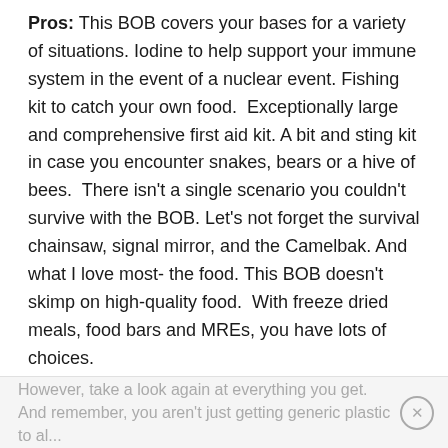Pros: This BOB covers your bases for a variety of situations. Iodine to help support your immune system in the event of a nuclear event. Fishing kit to catch your own food. Exceptionally large and comprehensive first aid kit. A bit and sting kit in case you encounter snakes, bears or a hive of bees. There isn't a single scenario you couldn't survive with the BOB. Let's not forget the survival chainsaw, signal mirror, and the Camelbak. And what I love most- the food. This BOB doesn't skimp on high-quality food. With freeze dried meals, food bars and MREs, you have lots of choices.
Cons: There's no way around it. This BOB is expensive. It's one of the priciest BOBs on the market today.
However, take a look again at everything you get. And remember, you aren't just getting generic plastic tools...